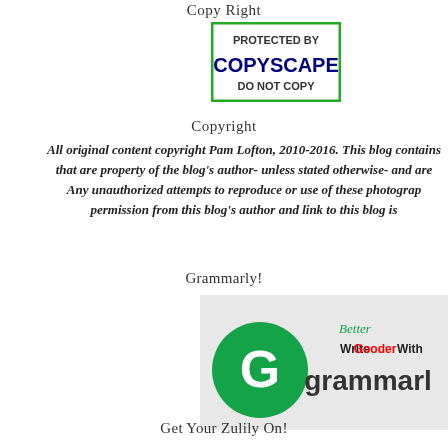Copy Right
[Figure (logo): Copyscape badge: green border rectangle with text 'PROTECTED BY COPYSCAPE DO NOT COPY']
Copyright
All original content copyright Pam Lofton, 2010-2016. This blog contains that are property of the blog's author- unless stated otherwise- and are Any unauthorized attempts to reproduce or use of these photograp permission from this blog's author and link to this blog is
Grammarly!
[Figure (logo): Grammarly logo banner: green circle with G, text 'Write Better Gooder With grammarly' on light gray background]
Get Your Zulily On!